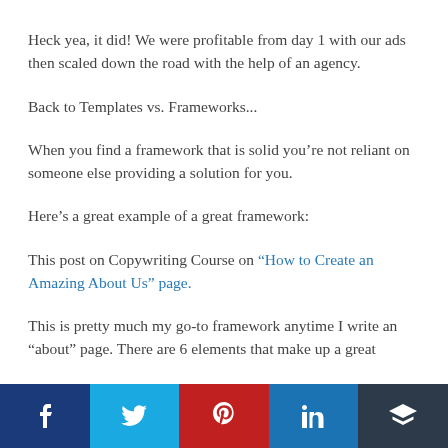Heck yea, it did! We were profitable from day 1 with our ads then scaled down the road with the help of an agency.
Back to Templates vs. Frameworks...
When you find a framework that is solid you’re not reliant on someone else providing a solution for you.
Here’s a great example of a great framework:
This post on Copywriting Course on “How to Create an Amazing About Us” page.
This is pretty much my go-to framework anytime I write an “about” page. There are 6 elements that make up a great